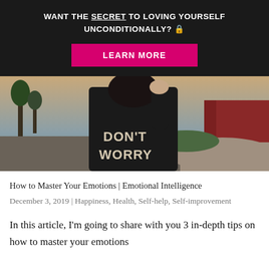WANT THE SECRET TO LOVING YOURSELF UNCONDITIONALLY? 🔒
LEARN MORE
[Figure (photo): Person wearing a black sweatshirt with text 'DON'T WORRY' standing outdoors near a garden with a red wall and paved path in background]
How to Master Your Emotions | Emotional Intelligence
December 3, 2019 | Happiness, Health, Self-help, Self-improvement
In this article, I'm going to share with you 3 in-depth tips on how to master your emotions